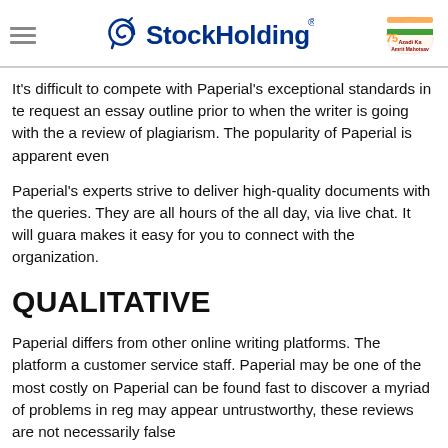StockHolding
It's difficult to compete with Paperial's exceptional standards in te request an essay outline prior to when the writer is going with the a review of plagiarism. The popularity of Paperial is apparent even
Paperial's experts strive to deliver high-quality documents with the queries. They are all hours of the all day, via live chat. It will guara makes it easy for you to connect with the organization.
QUALITATIVE
Paperial differs from other online writing platforms. The platform a customer service staff. Paperial may be one of the most costly on Paperial can be found fast to discover a myriad of problems in reg may appear untrustworthy, these reviews are not necessarily false
Another problem Paperial is a concern is their low-quality papers. essaysrescue.com/essayshark-review/ in the dark The majority ot privacy policies and the guidelines are also an issue. Paperial's s